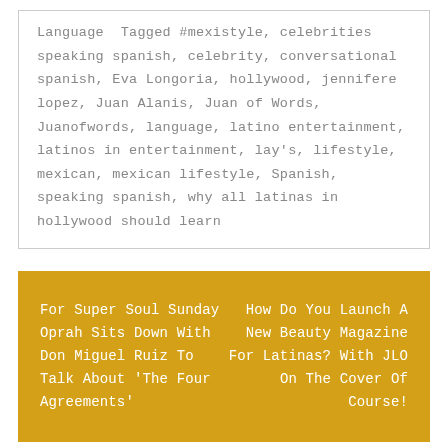Language  Tagged #mexistyle, celebrities speaking spanish, celebrity, conversational spanish, Eva Longoria, hollywood, jennifere lopez, Juan Alanis, Juan of Words, Juanofwords, language, latino entertainment, latinos in entertainment, lay's, lifestyle, mexican, mexican lifestyle, Spanish, speaking spanish, why all latinas in hollywood should learn
For Super Soul Sunday Oprah Sits Down With Don Miguel Ruiz To Talk About 'The Four Agreements'
How Do You Launch A New Beauty Magazine For Latinas? With JLO On The Cover Of Course!